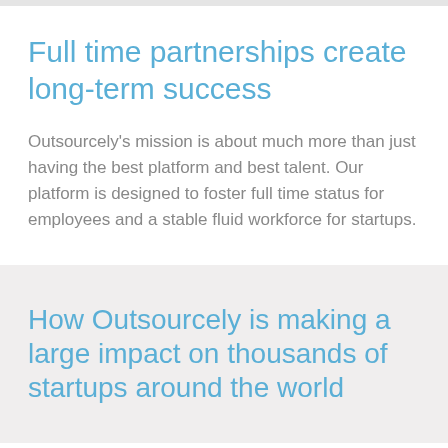Full time partnerships create long-term success
Outsourcely's mission is about much more than just having the best platform and best talent. Our platform is designed to foster full time status for employees and a stable fluid workforce for startups.
How Outsourcely is making a large impact on thousands of startups around the world